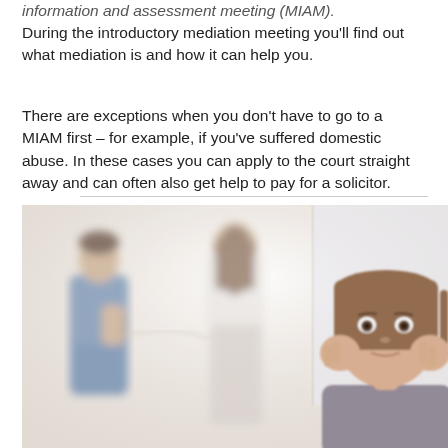information and assessment meeting (MIAM).
During the introductory mediation meeting you'll find out what mediation is and how it can help you.
There are exceptions when you don't have to go to a MIAM first – for example, if you've suffered domestic abuse. In these cases you can apply to the court straight away and can often also get help to pay for a solicitor.
[Figure (photo): A sad young girl with her hands on her cheeks in the foreground, with two adults (a man and a woman) arguing blurrily in the background, suggesting a family conflict or domestic dispute.]